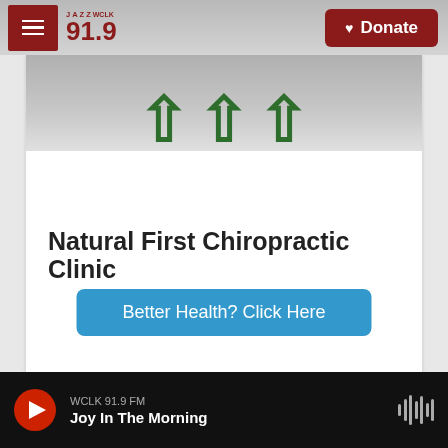JAZZ WCLK 91.9 | Donate
[Figure (screenshot): Partial advertisement image showing large green arrow/chevron shapes at top of ad unit]
Natural First Chiropractic Clinic
Better Health? Click Here
WCLK 91.9 FM | Joy In The Morning